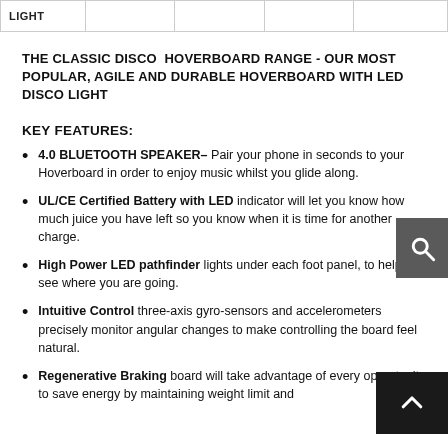| LIGHT |  |  |  |  |
| --- | --- | --- | --- | --- |
|  |
THE CLASSIC DISCO HOVERBOARD RANGE - OUR MOST POPULAR, AGILE AND DURABLE HOVERBOARD WITH LED DISCO LIGHT
KEY FEATURES:
4.0 BLUETOOTH SPEAKER– Pair your phone in seconds to your Hoverboard in order to enjoy music whilst you glide along.
UL/CE Certified Battery with LED indicator will let you know how much juice you have left so you know when it is time for another charge.
High Power LED pathfinder lights under each foot panel, to help you see where you are going.
Intuitive Control three-axis gyro-sensors and accelerometers precisely monitor angular changes to make controlling the board feel natural.
Regenerative Braking board will take advantage of every opportunity to save energy by maintaining weight limit and